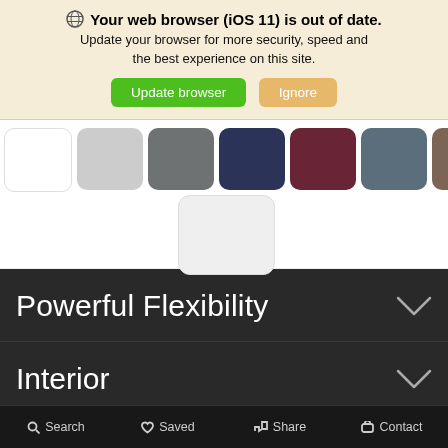Your web browser (iOS 11) is out of date. Update your browser for more security, speed and the best experience on this site.
Update browser | Ignore
[Figure (screenshot): Color swatches: white, light gray, gray, dark navy, maroon, steel blue, brown (top row), and one light gray swatch below center]
Powerful Flexibility
Interior
Power and Performance
Search  Saved  Share  Contact